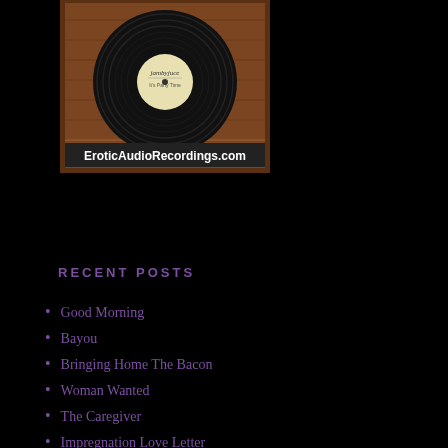[Figure (illustration): A vinyl record displayed in a wooden frame with a label reading 'It's Party Time' and 'jambyjuce'. Below the record image is a banner reading 'EroticAudioRecordings.com'.]
RECENT POSTS
Good Morning
Bayou
Bringing Home The Bacon
Woman Wanted
The Caregiver
Impregnation Love Letter
I Love Being a Slut
The Whole World